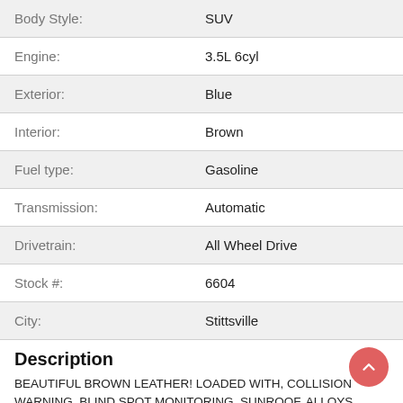| Label | Value |
| --- | --- |
| Body Style: | SUV |
| Engine: | 3.5L 6cyl |
| Exterior: | Blue |
| Interior: | Brown |
| Fuel type: | Gasoline |
| Transmission: | Automatic |
| Drivetrain: | All Wheel Drive |
| Stock #: | 6604 |
| City: | Stittsville |
Description
BEAUTIFUL BROWN LEATHER!  LOADED WITH, COLLISION WARNING, BLIND SPOT MONITORING, SUNROOF, ALLOYS WHEELS, REVERSE CAM, BLUETOOTH ETC!